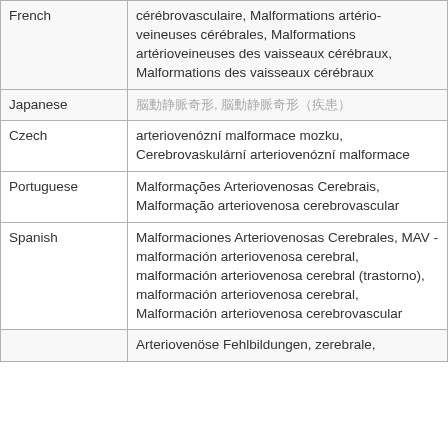| Language | Terms |
| --- | --- |
| French | cérébrovasculaire, Malformations artério-veineuses cérébrales, Malformations artérioveineuses des vaisseaux cérébraux, Malformations des vaisseaux cérébraux |
| Japanese | 脳動静脈奇形, 脳動静脈奇形（疾患） |
| Czech | arteriovenózní malformace mozku, Cerebrovaskulární arteriovenózní malformace |
| Portuguese | Malformações Arteriovenosas Cerebrais, Malformação arteriovenosa cerebrovascular |
| Spanish | Malformaciones Arteriovenosas Cerebrales, MAV - malformación arteriovenosa cerebral, malformación arteriovenosa cerebral (trastorno), malformación arteriovenosa cerebral, Malformación arteriovenosa cerebrovascular |
| German | Arteriovenöse Fehlbildungen, zerebrale, |